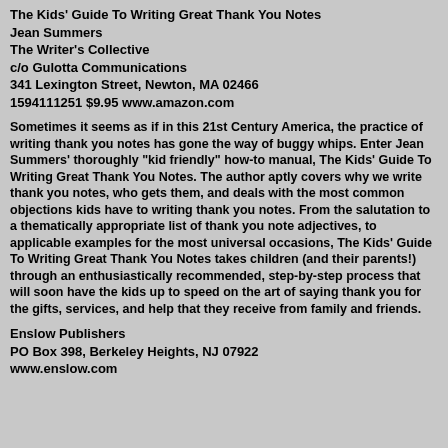The Kids' Guide To Writing Great Thank You Notes
Jean Summers
The Writer's Collective
c/o Gulotta Communications
341 Lexington Street, Newton, MA 02466
1594111251 $9.95 www.amazon.com
Sometimes it seems as if in this 21st Century America, the practice of writing thank you notes has gone the way of buggy whips. Enter Jean Summers' thoroughly "kid friendly" how-to manual, The Kids' Guide To Writing Great Thank You Notes. The author aptly covers why we write thank you notes, who gets them, and deals with the most common objections kids have to writing thank you notes. From the salutation to a thematically appropriate list of thank you note adjectives, to applicable examples for the most universal occasions, The Kids' Guide To Writing Great Thank You Notes takes children (and their parents!) through an enthusiastically recommended, step-by-step process that will soon have the kids up to speed on the art of saying thank you for the gifts, services, and help that they receive from family and friends.
Enslow Publishers
PO Box 398, Berkeley Heights, NJ 07922
www.enslow.com